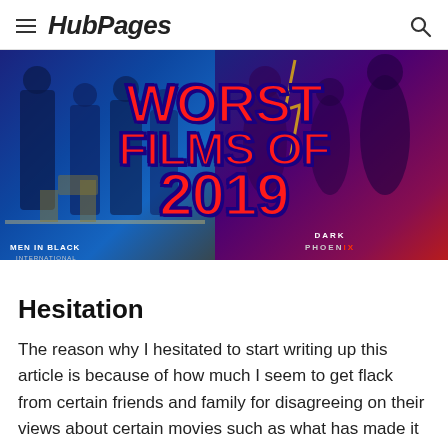HubPages
[Figure (illustration): Hero banner image showing movie posters for Men in Black International and Dark Phoenix with large red-and-blue overlay text reading WORST FILMS OF 2019]
Hesitation
The reason why I hesitated to start writing up this article is because of how much I seem to get flack from certain friends and family for disagreeing on their views about certain movies such as what has made it to my 'Worst Films of 2019' list. For a week